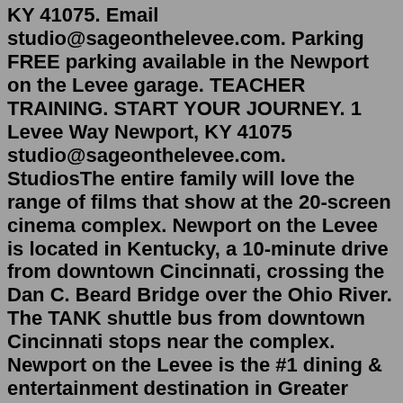KY 41075. Email studio@sageonthelevee.com. Parking FREE parking available in the Newport on the Levee garage. TEACHER TRAINING. START YOUR JOURNEY. 1 Levee Way Newport, KY 41075 studio@sageonthelevee.com. StudiosThe entire family will love the range of films that show at the 20-screen cinema complex. Newport on the Levee is located in Kentucky, a 10-minute drive from downtown Cincinnati, crossing the Dan C. Beard Bridge over the Ohio River. The TANK shuttle bus from downtown Cincinnati stops near the complex. Newport on the Levee is the #1 dining & entertainment destination in Greater Cincinnati/Northern Kentucky. Located just across the river from Cincinnati's dramatic skyline view, the Levee features a year-round schedule of festivals, special events, live bands and a great selection of restaurant offerings. Specialties: Newport on the Levee is a multi-level dining, entertainment, and retail center located on the banks of the Ohio River in Newport, Kentucky. Spend the day shopping at our Newport, KY stores, enjoy a movie at AMC